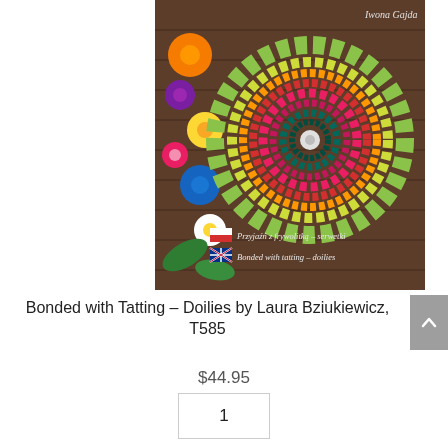[Figure (photo): Book cover of 'Bonded with Tatting – Doilies' by Iwona Gajda. Shows a colorful tatted doily in green, yellow, orange, red, pink, and teal on a wooden surface, surrounded by colorful flowers. The cover includes a Polish flag and Polish text 'Przyjaźń z frywolitką – serwetki' and a UK flag with English text 'Bonded with tatting – doilies'.]
Bonded with Tatting – Doilies by Laura Bziukiewicz, T585
$44.95
1